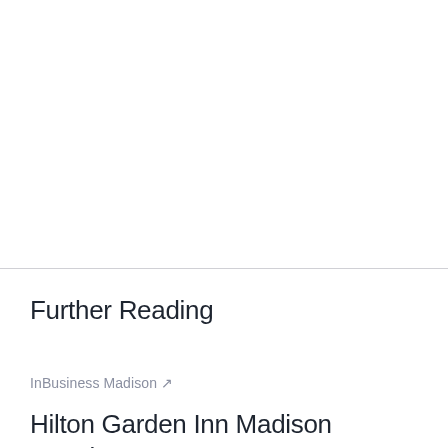Further Reading
InBusiness Madison ↗
Hilton Garden Inn Madison Receives 2022